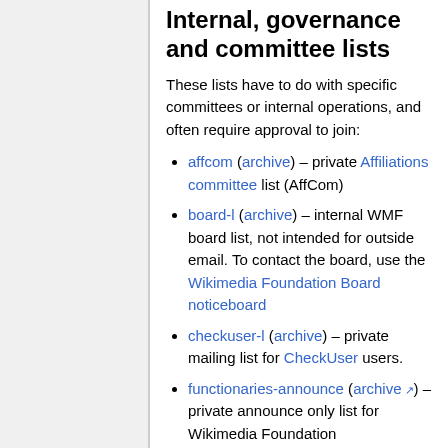Internal, governance and committee lists
These lists have to do with specific committees or internal operations, and often require approval to join:
affcom (archive) – private Affiliations committee list (AffCom)
board-l (archive) – internal WMF board list, not intended for outside email. To contact the board, use the Wikimedia Foundation Board noticeboard
checkuser-l (archive) – private mailing list for CheckUser users.
functionaries-announce (archive) – private announce only list for Wikimedia Foundation announcements to groups of trusted users for important changes to their